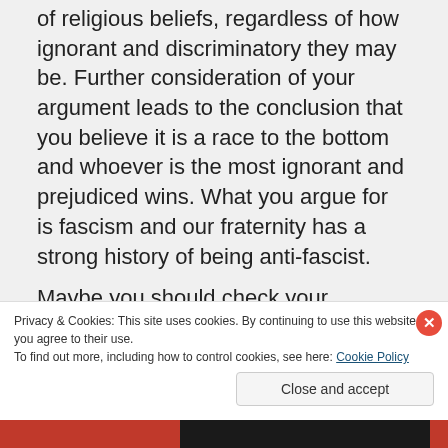of religious beliefs, regardless of how ignorant and discriminatory they may be. Further consideration of your argument leads to the conclusion that you believe it is a race to the bottom and whoever is the most ignorant and prejudiced wins. What you argue for is fascism and our fraternity has a strong history of being anti-fascist.

Maybe you should check your
Privacy & Cookies: This site uses cookies. By continuing to use this website, you agree to their use. To find out more, including how to control cookies, see here: Cookie Policy
Close and accept